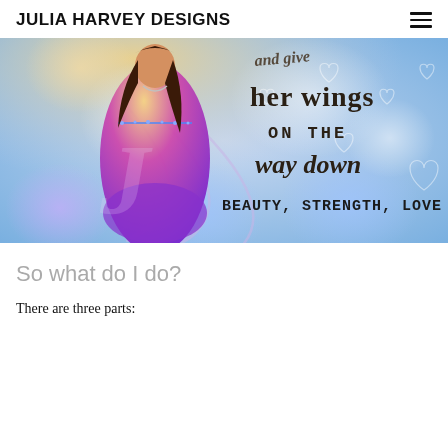JULIA HARVEY DESIGNS
[Figure (illustration): Decorative image showing a woman in a purple/magenta dress on a soft bokeh background with text overlay reading 'her wings ON THE way down' and 'BEAUTY, STRENGTH, LOVE']
So what do I do?
There are three parts: